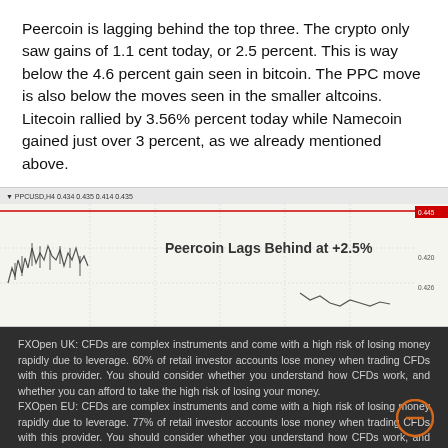Peercoin is lagging behind the top three. The crypto only saw gains of 1.1 cent today, or 2.5 percent. This is way below the 4.6 percent gain seen in bitcoin. The PPC move is also below the moves seen in the smaller altcoins. Litecoin rallied by 3.56% percent today while Namecoin gained just over 3 percent, as we already mentioned above.
[Figure (continuous-plot): Candlestick/line chart of PPCUSD with label 'Peercoin Lags Behind at +2.5%'. Shows price action with a horizontal red line at the top. Y-axis shows values around 0.420-0.450. Chart header reads: PPCUSD,H4 0.434 0.435 0.414 0.435]
FXOpen UK: CFDs are complex instruments and come with a high risk of losing money rapidly due to leverage. 60% of retail investor accounts lose money when trading CFDs with this provider. You should consider whether you understand how CFDs work, and whether you can afford to take the high risk of losing your money. FXOpen EU: CFDs are complex instruments and come with a high risk of losing money rapidly due to leverage. 77% of retail investor accounts lose money when trading CFDs with this provider. You should consider whether you understand how CFDs work, and whether you can afford to take the high risk of losing your money.